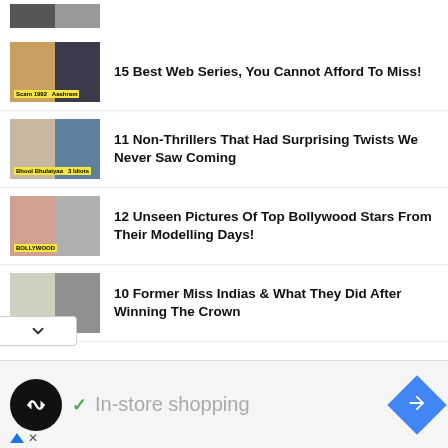[Figure (screenshot): Partial thumbnail of a Bollywood article at top of page]
15 Best Web Series, You Cannot Afford To Miss!
11 Non-Thrillers That Had Surprising Twists We Never Saw Coming
12 Unseen Pictures Of Top Bollywood Stars From Their Modelling Days!
10 Former Miss Indias & What They Did After Winning The Crown
[Figure (infographic): Advertisement banner: Loopback icon, checkmark, In-store shopping text, and navigation arrow icon]